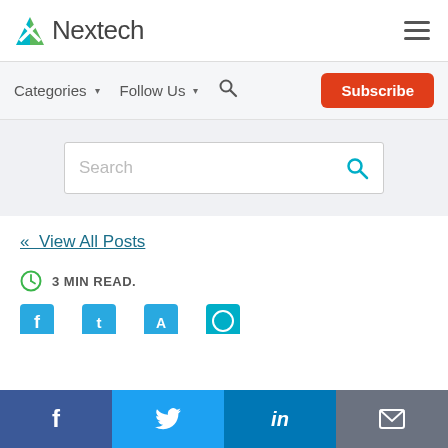Nextech
Categories  Follow Us  Search  Subscribe
[Figure (screenshot): Search input box with teal search icon]
« View All Posts
3 MIN READ.
[Figure (infographic): Social share bar with Facebook, Twitter, LinkedIn, and email icons]